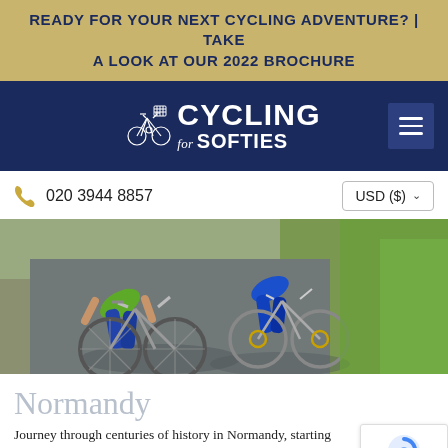READY FOR YOUR NEXT CYCLING ADVENTURE? | TAKE A LOOK AT OUR 2022 BROCHURE
[Figure (logo): Cycling for Softies logo with bicycle icon on dark navy background with hamburger menu icon]
020 3944 8857
USD ($)
[Figure (photo): Two cyclists on bikes viewed from above on a paved path, one wearing green and one wearing blue, with grass visible to the right]
Normandy
Journey through centuries of history in Normandy, starting thousand-year-old Bayeaux Tapestry – a legacy of the Norm depicts the events of 1066 – and the D-Day landing beaches of WWII.